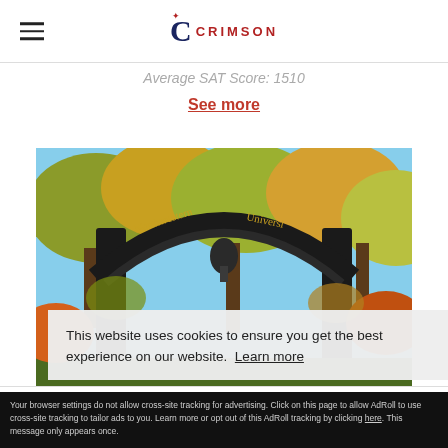Crimson Education logo and navigation
Average SAT Score: 1510
See more
[Figure (photo): Northwestern University ornate iron arch gate photographed from below, surrounded by autumn trees with yellow and orange foliage and a blue sky.]
This website uses cookies to ensure you get the best experience on our website. Learn more
Accept and Close ✕
Your browser settings do not allow cross-site tracking for advertising. Click on this page to allow AdRoll to use cross-site tracking to tailor ads to you. Learn more or opt out of this AdRoll tracking by clicking here. This message only appears once.